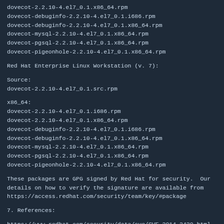dovecot-2.2.10-4.el7_0.1.x86_64.rpm
dovecot-debuginfo-2.2.10-4.el7_0.1.i686.rpm
dovecot-debuginfo-2.2.10-4.el7_0.1.x86_64.rpm
dovecot-mysql-2.2.10-4.el7_0.1.x86_64.rpm
dovecot-pgsql-2.2.10-4.el7_0.1.x86_64.rpm
dovecot-pigeonhole-2.2.10-4.el7_0.1.x86_64.rpm
Red Hat Enterprise Linux Workstation (v. 7):
Source:
dovecot-2.2.10-4.el7_0.1.src.rpm
x86_64:
dovecot-2.2.10-4.el7_0.1.i686.rpm
dovecot-2.2.10-4.el7_0.1.x86_64.rpm
dovecot-debuginfo-2.2.10-4.el7_0.1.i686.rpm
dovecot-debuginfo-2.2.10-4.el7_0.1.x86_64.rpm
dovecot-mysql-2.2.10-4.el7_0.1.x86_64.rpm
dovecot-pgsql-2.2.10-4.el7_0.1.x86_64.rpm
dovecot-pigeonhole-2.2.10-4.el7_0.1.x86_64.rpm
These packages are GPG signed by Red Hat for security.  Our details on how to verify the signature are available from https://access.redhat.com/security/team/key/#package
7. References:
https://www.redhat.com/security/data/cve/CVE-2014-3430.html
https://access.redhat.com/security/updates/classification/#m
8. Contact: